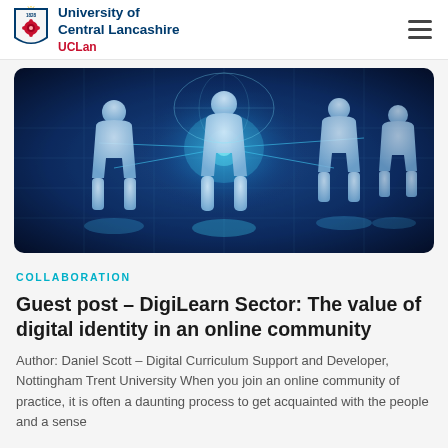University of Central Lancashire UCLan
[Figure (illustration): Hero image showing 3D human figure silhouettes connected in a network on a dark blue digital background with a glowing world map]
COLLABORATION
Guest post – DigiLearn Sector: The value of digital identity in an online community
Author: Daniel Scott – Digital Curriculum Support and Developer, Nottingham Trent University When you join an online community of practice, it is often a daunting process to get acquainted with the people and a sense